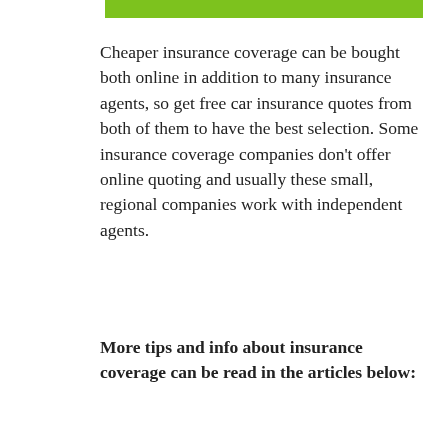[Figure (other): Green horizontal bar at the top of the page]
Cheaper insurance coverage can be bought both online in addition to many insurance agents, so get free car insurance quotes from both of them to have the best selection. Some insurance coverage companies don't offer online quoting and usually these small, regional companies work with independent agents.
More tips and info about insurance coverage can be read in the articles below: